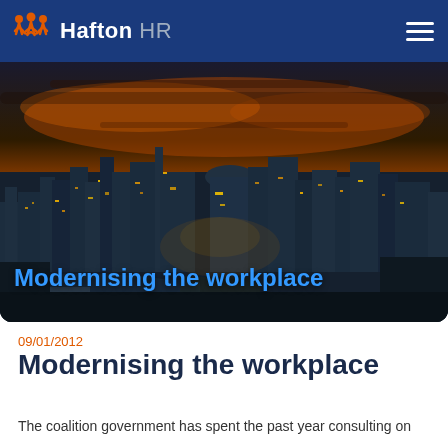Hafton HR
[Figure (photo): Aerial nighttime cityscape of London with glowing city lights and dramatic orange sunset sky, featuring the River Thames and St Paul's Cathedral]
Modernising the workplace
09/01/2012
Modernising the workplace
The coalition government has spent the past year consulting on